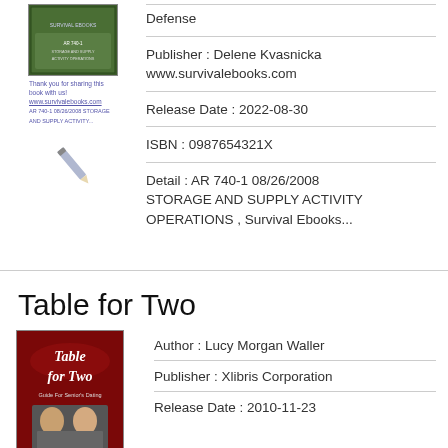[Figure (illustration): Book cover thumbnail showing green/dark background with text, and below it some small text lines in blue]
Defense
Publisher : Delene Kvasnicka www.survivalebooks.com
Release Date : 2022-08-30
ISBN : 0987654321X
Detail : AR 740-1 08/26/2008 STORAGE AND SUPPLY ACTIVITY OPERATIONS , Survival Ebooks...
Table for Two
[Figure (illustration): Book cover for 'Table for Two - Guide For Senior's Dating', red background with script title and photo of elderly couple]
Author : Lucy Morgan Waller
Publisher : Xlibris Corporation
Release Date : 2010-11-23